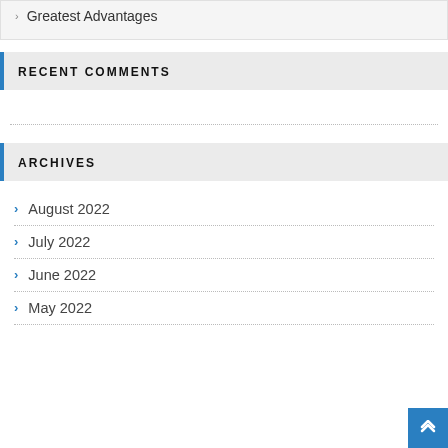Employ The Contract Manufacturer For The Greatest Advantages
RECENT COMMENTS
ARCHIVES
August 2022
July 2022
June 2022
May 2022